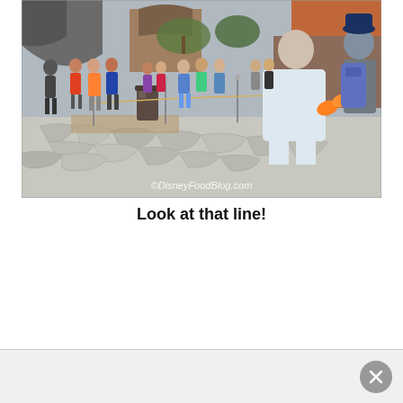[Figure (photo): A long line of park visitors queuing outdoors at a Disney theme park area with stone-paved ground, a trash can, rope barriers, and themed architecture in the background. A watermark reads '©DisneyFoodBlog.com'.]
Look at that line!
Ad close button